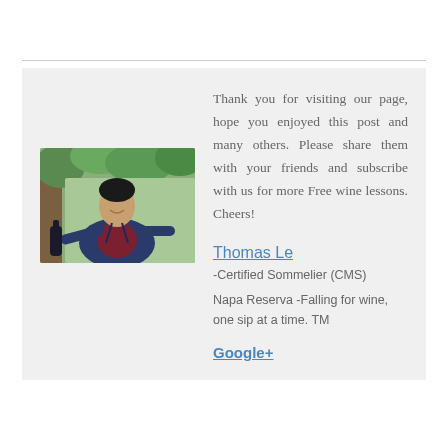[Figure (photo): A man in a blue blazer and dark red shirt smiling and holding a wine bottle outdoors, pouring wine. Background has trees and greenery.]
Thank you for visiting our page, hope you enjoyed this post and many others. Please share them with your friends and subscribe with us for more Free wine lessons. Cheers!
Thomas Le
-Certified Sommelier (CMS)
Napa Reserva -Falling for wine, one sip at a time. TM
Google+